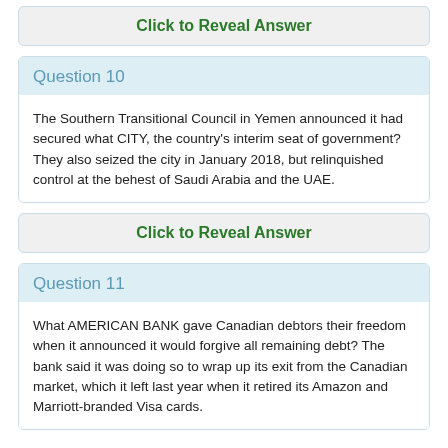Click to Reveal Answer
Question 10
The Southern Transitional Council in Yemen announced it had secured what CITY, the country's interim seat of government? They also seized the city in January 2018, but relinquished control at the behest of Saudi Arabia and the UAE.
Click to Reveal Answer
Question 11
What AMERICAN BANK gave Canadian debtors their freedom when it announced it would forgive all remaining debt? The bank said it was doing so to wrap up its exit from the Canadian market, which it left last year when it retired its Amazon and Marriott-branded Visa cards.